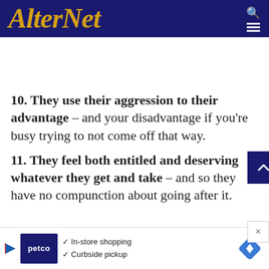AlterNet
10. They use their aggression to their advantage – and your disadvantage if you're busy trying to not come off that way.
11. They feel both entitled and deserving whatever they get and take – and so they have no compunction about going after it.
[Figure (screenshot): Petco advertisement banner: In-store shopping, Curbside pickup]
[Figure (other): Scroll to top button (dark blue with up arrow chevron) and close X button]